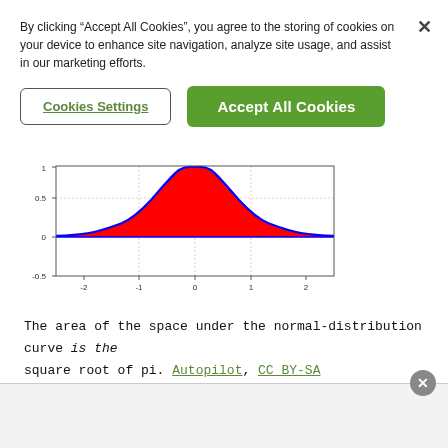By clicking “Accept All Cookies”, you agree to the storing of cookies on your device to enhance site navigation, analyze site usage, and assist in our marketing efforts.
[Figure (continuous-plot): Normal distribution (bell) curve with red filled area under the curve from approximately -2 to 2. Blue curve line. Y-axis ticks at -0.5, 0, 0.5, 1. X-axis ticks at -2, -1, 0, 1, 2.]
The area of the space under the normal-distribution curve is the square root of pi. Autopilot, CC BY-SA